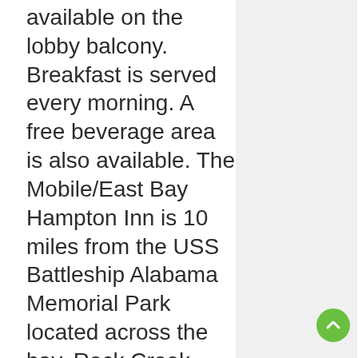available on the lobby balcony. Breakfast is served every morning. A free beverage area is also available. The Mobile/East Bay Hampton Inn is 10 miles from the USS Battleship Alabama Memorial Park located across the bay. Rock Creek Golf Club is 7.5 miles away and has special offers